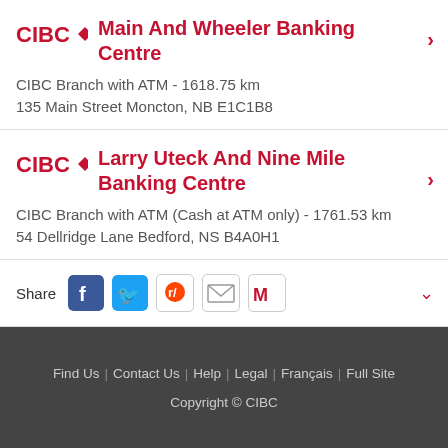[Figure (logo): CIBC logo with red text and diamond shape]
Main And Wheeler Banking Centre
CIBC Branch with ATM - 1618.75 km
135 Main Street Moncton, NB E1C1B8
[Figure (logo): CIBC logo with red text and diamond shape]
Larry Uteck And Nine Mile Banking Centre
CIBC Branch with ATM (Cash at ATM only) - 1761.53 km
54 Dellridge Lane Bedford, NS B4A0H1
Share
Find Us | Contact Us | Help | Legal | Français | Full Site Copyright © CIBC